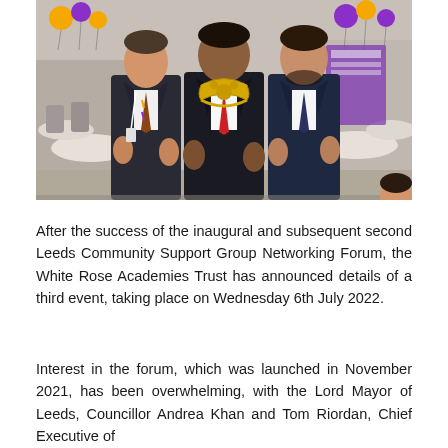[Figure (photo): Three men in suits standing together at a formal event. The man in the center wears a mayoral chain of office. Background shows banquet tables with purple and gold/orange balloon decorations and attendees.]
After the success of the inaugural and subsequent second Leeds Community Support Group Networking Forum, the White Rose Academies Trust has announced details of a third event, taking place on Wednesday 6th July 2022.
Interest in the forum, which was launched in November 2021, has been overwhelming, with the Lord Mayor of Leeds, Councillor Andrea Khan and Tom Riordan, Chief Executive of